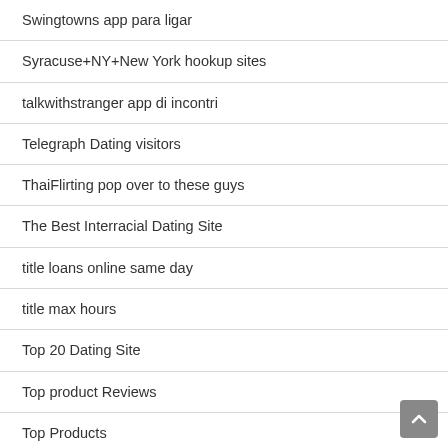Swingtowns app para ligar
Syracuse+NY+New York hookup sites
talkwithstranger app di incontri
Telegraph Dating visitors
ThaiFlirting pop over to these guys
The Best Interracial Dating Site
title loans online same day
title max hours
Top 20 Dating Site
Top product Reviews
Top Products
Top Reviews